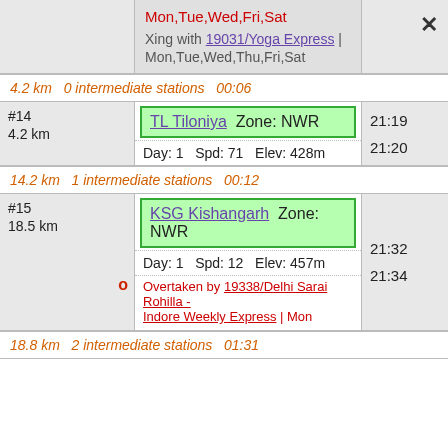Mon,Tue,Wed,Fri,Sat
Xing with 19031/Yoga Express | Mon,Tue,Wed,Thu,Fri,Sat
4.2 km   0 intermediate stations   00:06
| # | Station | Time |
| --- | --- | --- |
| #14
4.2 km | TL Tiloniya  Zone: NWR
Day: 1  Spd: 71  Elev: 428m | 21:19
21:20 |
14.2 km   1 intermediate stations   00:12
| # | Station | Time |
| --- | --- | --- |
| #15
18.5 km | KSG Kishangarh  Zone: NWR
Day: 1  Spd: 12  Elev: 457m
Overtaken by 19338/Delhi Sarai Rohilla - Indore Weekly Express | Mon | 21:32
21:34 |
18.8 km   2 intermediate stations   01:31